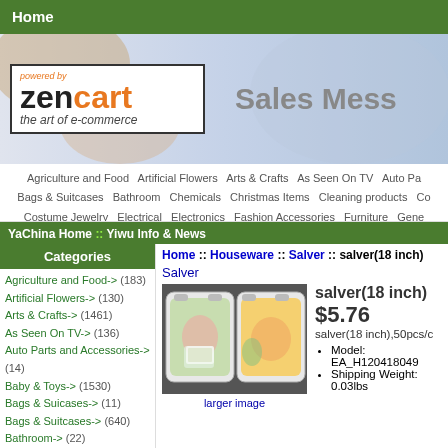Home
[Figure (screenshot): Zen Cart logo with 'powered by zencart the art of e-commerce' and 'Sales Mess' text on banner]
Agriculture and Food   Artificial Flowers   Arts & Crafts   As Seen On TV   Auto Pa   Bags & Suitcases   Bathroom   Chemicals   Christmas Items   Cleaning products   Co   Costume Jewelry   Electrical   Electronics   Fashion Accessories   Furniture   Gene   Home Textiles   Houseware   Mobile Phone & Accessories   Office and Stationery   O   Shelf With Lable   Shoes   Sports   Apparel   Computer Hard
YaChina Home :: Yiwu Info & News
Home :: Houseware :: Salver :: salver(18 inch)
Categories
Agriculture and Food-> (183)
Artificial Flowers-> (130)
Arts & Crafts-> (1461)
As Seen On TV-> (136)
Auto Parts and Accessories-> (14)
Baby & Toys-> (1530)
Bags & Suicases-> (11)
Bags & Suitcases-> (640)
Bathroom-> (22)
Chemicals-> (3)
Christmas Items-> (68)
Cleaning products-> (14)
Salver
[Figure (photo): Photo of two plastic serving trays/salvers with decorative patterns]
larger image
salver(18 inch)
$5.76
salver(18 inch),50pcs/c
Model: EA_H120418049
Shipping Weight: 0.03lbs